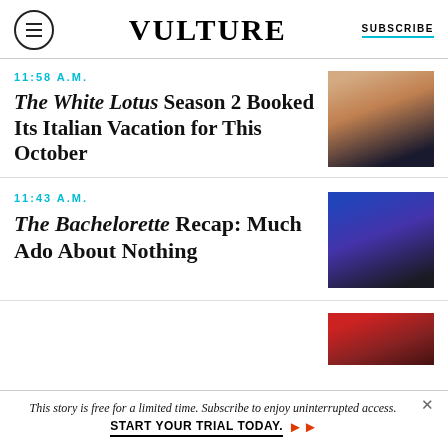VULTURE | SUBSCRIBE
11:58 A.M.
The White Lotus Season 2 Booked Its Italian Vacation for This October
[Figure (photo): Woman smiling and holding a champagne glass, wearing a dark outfit.]
11:43 A.M.
The Bachelorette Recap: Much Ado About Nothing
[Figure (photo): Two women in black outfits seated on a stage with blue lighting in the background.]
[Figure (photo): Partial view of a red-themed image, partially cropped.]
This story is free for a limited time. Subscribe to enjoy uninterrupted access. START YOUR TRIAL TODAY.